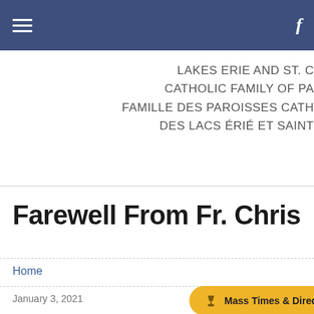Navigation bar with hamburger menu and Facebook icon
LAKES ERIE AND ST. C
CATHOLIC FAMILY OF PA
FAMILLE DES PAROISSES CATH
DES LACS ÉRIÉ ET SAINT
Farewell From Fr. Chris
Home
January 3, 2021
Mass Times & Directions